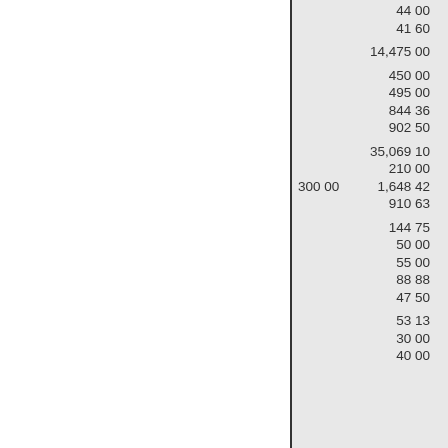| 44 00 |
| 41 60 |
| 14,475 00 |
| 450 00 |
| 495 00 |
| 844 36 |
| 902 50 |
| 35,069 10 |
| 210 00 |
| 300 00 | 1,648 42 |
| 910 63 |
| 144 75 |
| 50 00 |
| 55 00 |
| 88 88 |
| 47 50 |
| 53 13 |
| 30 00 |
| 40 00 |